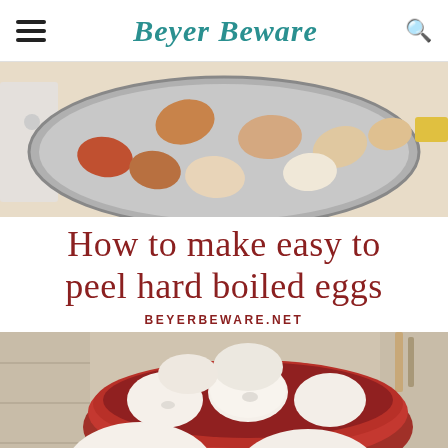Beyer Beware
[Figure (photo): Overhead view of multiple eggs of different colors (brown, orange, beige, white) in a stainless steel pot on a stove]
How to make easy to peel hard boiled eggs
BEYERBEWARE.NET
[Figure (photo): Peeled white hard boiled eggs in a round red bowl on a wooden surface, with more peeled eggs in the foreground]